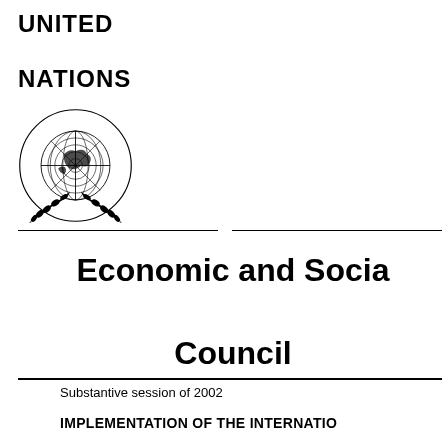UNITED
NATIONS
[Figure (logo): United Nations emblem — world map in polar projection surrounded by olive branches]
Economic and Social Council
Substantive session of 2002
IMPLEMENTATION OF THE INTERNATIO